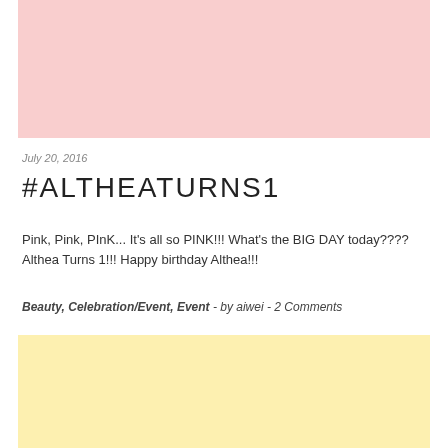[Figure (photo): Pink banner/placeholder image at the top of the page]
July 20, 2016
#ALTHEATURNS1
Pink, Pink, PInK... It's all so PINK!!! What's the BIG DAY today???? Althea Turns 1!!! Happy birthday Althea!!!
Beauty, Celebration/Event, Event  -  by aiwei  -  2 Comments
[Figure (photo): Yellow/cream banner/placeholder image at the bottom of the page]